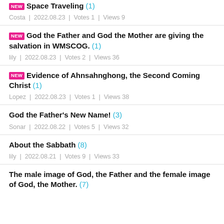Space Traveling (1) | Costa | 2022.08.23 | Votes 1 | Views 9
God the Father and God the Mother are giving the salvation in WMSCOG. (1) | lily | 2022.08.23 | Votes 2 | Views 36
Evidence of Ahnsahnghong, the Second Coming Christ (1) | Lopez | 2022.08.23 | Votes 1 | Views 38
God the Father's New Name! (3) | Sonar | 2022.08.22 | Votes 5 | Views 32
About the Sabbath (8) | lily | 2022.08.21 | Votes 9 | Views 33
The male image of God, the Father and the female image of God, the Mother. (7)